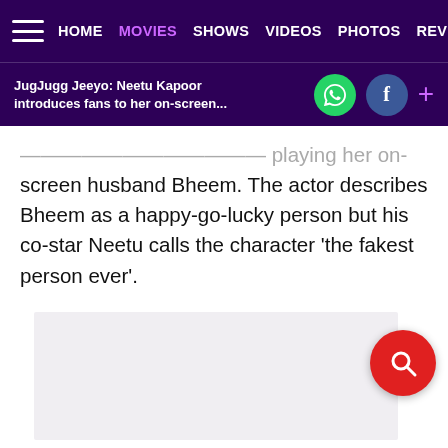HOME  MOVIES  SHOWS  VIDEOS  PHOTOS  REVI
JugJugg Jeeyo: Neetu Kapoor introduces fans to her on-screen...
screen husband Bheem. The actor describes Bheem as a happy-go-lucky person but his co-star Neetu calls the character ‘the fakest person ever’.
[Figure (other): Light grey advertisement or image placeholder rectangle]